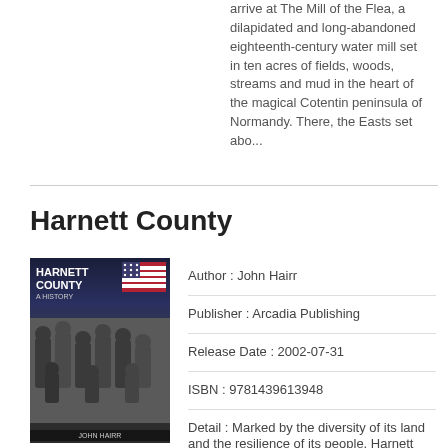arrive at The Mill of the Flea, a dilapidated and long-abandoned eighteenth-century water mill set in ten acres of fields, woods, streams and mud in the heart of the magical Cotentin peninsula of Normandy. There, the Easts set abo...
Harnett County
[Figure (photo): Book cover of 'Harnett County: A History' by John Hairr, showing a historical black-and-white group photo of men, with American flag imagery at the top right.]
Author : John Hairr
Publisher : Arcadia Publishing
Release Date : 2002-07-31
ISBN : 9781439613948
Detail : Marked by the diversity of its land and the resilience of its people, Harnett County boasts a rich history characterized by